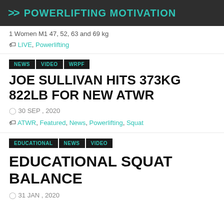>> POWERLIFTING MOTIVATION
1 Women M1 47, 52, 63 and 69 kg
🏷 LIVE, Powerlifting
NEWS VIDEO WRPF
JOE SULLIVAN HITS 373KG 822LB FOR NEW ATWR
30 SEP , 2020
🏷 ATWR, Featured, News, Powerlifting, Squat
EDUCATIONAL NEWS VIDEO
EDUCATIONAL SQUAT BALANCE
31 JAN , 2020